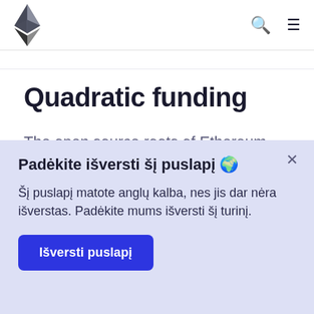Ethereum logo, search icon, menu icon
Quadratic funding
The open source roots of Ethereum have led to
Padėkite išversti šį puslapį 🌍
Šį puslapį matote anglų kalba, nes jis dar nėra išverstas. Padėkite mums išversti šį turinį.
Išversti puslapį